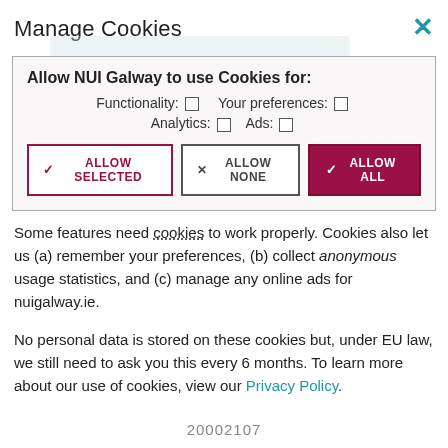Manage Cookies
[Figure (screenshot): Cookie consent dialog box with options: Allow NUI Galway to use Cookies for: Functionality (checkbox), Your preferences (checkbox), Analytics (checkbox), Ads (checkbox). Three buttons: ALLOW SELECTED, ALLOW NONE, ALLOW ALL.]
Some features need cookies to work properly. Cookies also let us (a) remember your preferences, (b) collect anonymous usage statistics, and (c) manage any online ads for nuigalway.ie.
No personal data is stored on these cookies but, under EU law, we still need to ask you this every 6 months. To learn more about our use of cookies, view our Privacy Policy.
20002107